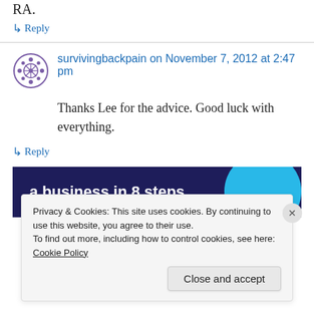RA.
↳ Reply
survivingbackpain on November 7, 2012 at 2:47 pm
Thanks Lee for the advice. Good luck with everything.
↳ Reply
[Figure (screenshot): Advertisement banner with dark blue background showing text 'a business in 8 steps' with a cyan circle graphic on the right]
Privacy & Cookies: This site uses cookies. By continuing to use this website, you agree to their use. To find out more, including how to control cookies, see here: Cookie Policy